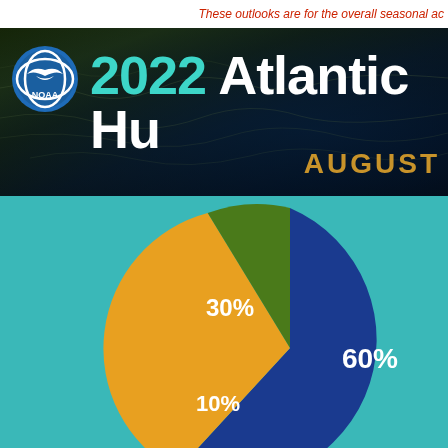These outlooks are for the overall seasonal ac
[Figure (infographic): NOAA 2022 Atlantic Hurricane Season outlook banner with NOAA logo, teal '2022', white 'Atlantic Hu[rricane]' text, and gold 'AUGUST' subtitle on dark satellite imagery background]
[Figure (pie-chart): 2022 Atlantic Hurricane Season Outlook probability]